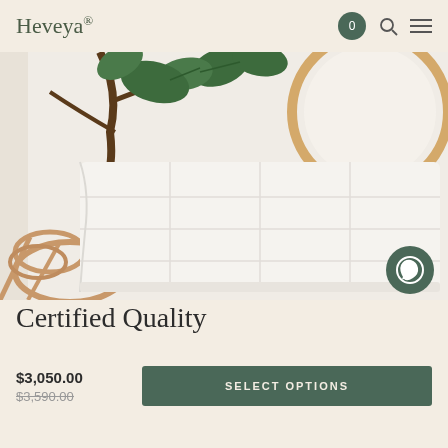Heveya®
[Figure (photo): Product photo of a white quilted blanket/duvet draped over a rattan chair/furniture, with a large leafy plant (fiddle leaf fig) and a round rattan mirror in the background, against a white wall.]
Certified Quality
$3,050.00
$3,590.00